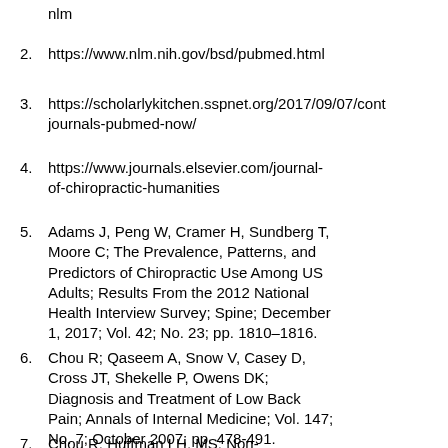nlm
2. https://www.nlm.nih.gov/bsd/pubmed.html
3. https://scholarlykitchen.sspnet.org/2017/09/07/cont journals-pubmed-now/
4. https://www.journals.elsevier.com/journal-of-chiropractic-humanities
5. Adams J, Peng W, Cramer H, Sundberg T, Moore C; The Prevalence, Patterns, and Predictors of Chiropractic Use Among US Adults; Results From the 2012 National Health Interview Survey; Spine; December 1, 2017; Vol. 42; No. 23; pp. 1810–1816.
6. Chou R; Qaseem A, Snow V, Casey D, Cross JT, Shekelle P, Owens DK; Diagnosis and Treatment of Low Back Pain; Annals of Internal Medicine; Vol. 147; No. 7; October 2007; pp. 478-491.
7. Chou R, Huffman LH, MS; Non-pharmacologic Therapies for Acute and